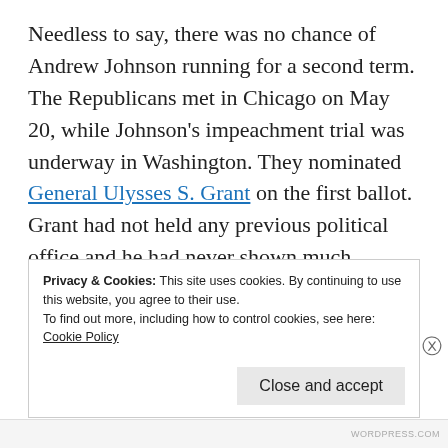Needless to say, there was no chance of Andrew Johnson running for a second term. The Republicans met in Chicago on May 20, while Johnson's impeachment trial was underway in Washington. They nominated General Ulysses S. Grant on the first ballot. Grant had not held any previous political office and he had never shown much interest in politics but the leaders of the Republican party believed they needed to nominate a popular hero to ensure a victory in
Privacy & Cookies: This site uses cookies. By continuing to use this website, you agree to their use.
To find out more, including how to control cookies, see here: Cookie Policy
Close and accept